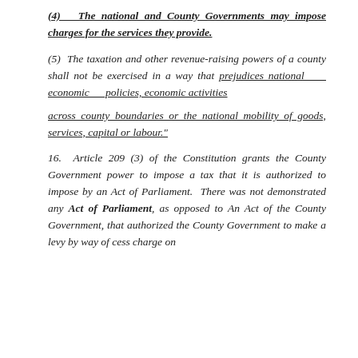(4)  The national and County Governments may impose charges for the services they provide.
(5)  The taxation and other revenue-raising powers of a county shall not be exercised in a way that prejudices national economic policies, economic activities across county boundaries or the national mobility of goods, services, capital or labour."
16. Article 209 (3) of the Constitution grants the County Government power to impose a tax that it is authorized to impose by an Act of Parliament.  There was not demonstrated any Act of Parliament, as opposed to An Act of the County Government, that authorized the County Government to make a levy by way of cess charge on...